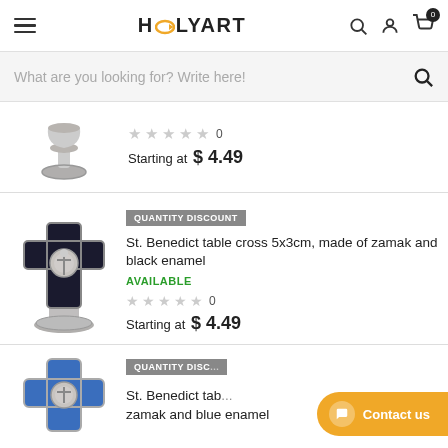HolyArt
What are you looking for? Write here!
Starting at $ 4.49
[Figure (photo): St. Benedict table cross 5x3cm, black enamel on zamak pedestal]
QUANTITY DISCOUNT
St. Benedict table cross 5x3cm, made of zamak and black enamel
AVAILABLE
0
Starting at $ 4.49
[Figure (photo): St. Benedict table cross with blue enamel on zamak pedestal]
QUANTITY DISC...
St. Benedict table ... zamak and blue enamel